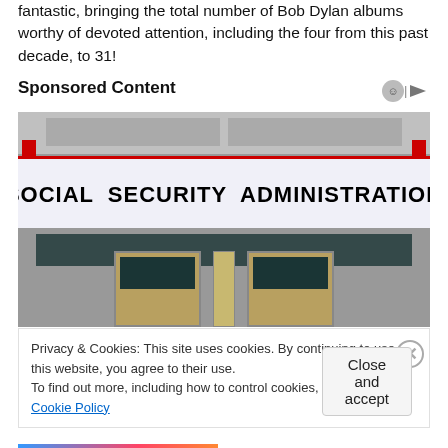fantastic, bringing the total number of Bob Dylan albums worthy of devoted attention, including the four from this past decade, to 31!
Sponsored Content
[Figure (photo): Photo of a Social Security Administration building entrance with a large sign reading 'SOCIAL SECURITY ADMINISTRATION', red posts on either side, and glass doors below.]
Privacy & Cookies: This site uses cookies. By continuing to use this website, you agree to their use.
To find out more, including how to control cookies, see here: Cookie Policy